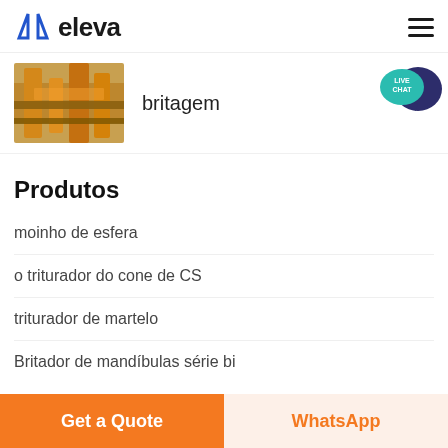eleva
[Figure (photo): Industrial mining/crushing equipment, orange and yellow machinery]
britagem
[Figure (infographic): Live Chat badge icon - teal speech bubble with dark blue chat bubble]
Produtos
moinho de esfera
o triturador do cone de CS
triturador de martelo
Britador de mandíbulas série bi
Get a Quote  WhatsApp